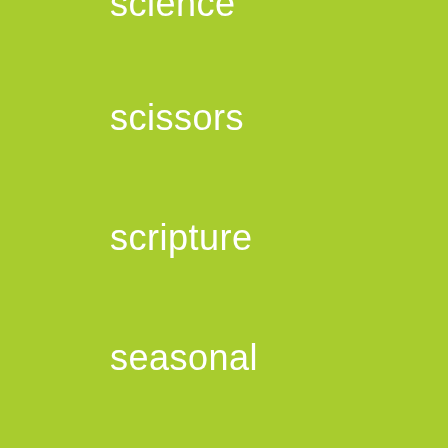science
scissors
scripture
seasonal
seeds
self-control
self-esteem
sensitive
sensory